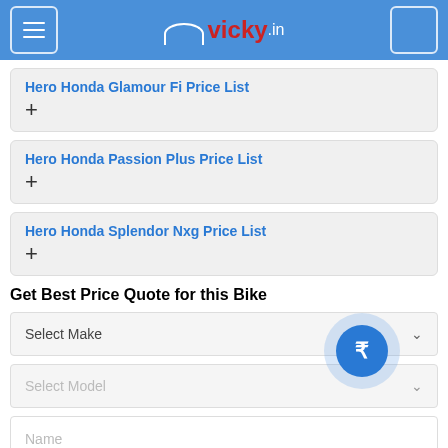vicky.in
Hero Honda Glamour Fi Price List
Hero Honda Passion Plus Price List
Hero Honda Splendor Nxg Price List
Get Best Price Quote for this Bike
Select Make
Select Model
Name